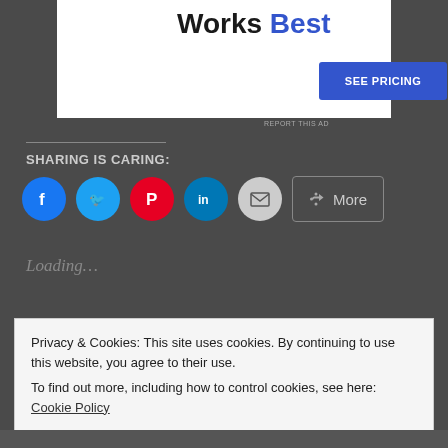[Figure (screenshot): Advertisement banner with text 'Works Best' and a blue 'SEE PRICING' button]
REPORT THIS AD
SHARING IS CARING:
[Figure (infographic): Social sharing buttons: Facebook (blue), Twitter (light blue), Pinterest (red), LinkedIn (teal), Email (grey), More button]
Loading...
Privacy & Cookies: This site uses cookies. By continuing to use this website, you agree to their use.
To find out more, including how to control cookies, see here: Cookie Policy
Close and accept